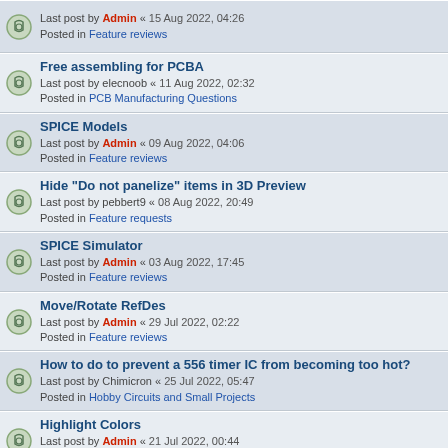Last post by Admin « 15 Aug 2022, 04:26
Posted in Feature reviews
Free assembling for PCBA
Last post by elecnoob « 11 Aug 2022, 02:32
Posted in PCB Manufacturing Questions
SPICE Models
Last post by Admin « 09 Aug 2022, 04:06
Posted in Feature reviews
Hide "Do not panelize" items in 3D Preview
Last post by pebbert9 « 08 Aug 2022, 20:49
Posted in Feature requests
SPICE Simulator
Last post by Admin « 03 Aug 2022, 17:45
Posted in Feature reviews
Move/Rotate RefDes
Last post by Admin « 29 Jul 2022, 02:22
Posted in Feature reviews
How to do to prevent a 556 timer IC from becoming too hot?
Last post by Chimicron « 25 Jul 2022, 05:47
Posted in Hobby Circuits and Small Projects
Highlight Colors
Last post by Admin « 21 Jul 2022, 00:44
Posted in Feature reviews
Portable copy of DipTrace
Last post by Serg « 19 Jul 2022, 04:31
Posted in Feature reviews
Adding Arc
Last post by Admin « 18 Jul 2022, 01:14
Posted in Feature reviews
lines on top of lines check